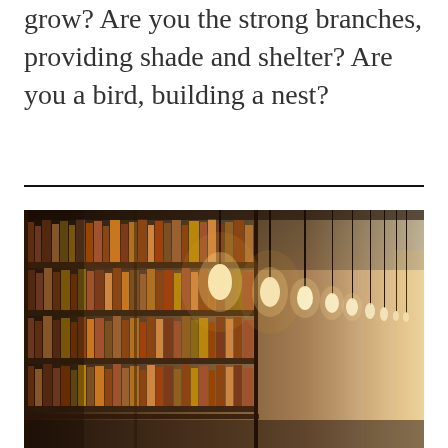grow? Are you the strong branches, providing shade and shelter? Are you a bird, building a nest?
[Figure (photo): A warm, atmospheric photograph of a library with tall wooden bookshelves filled with books, lit by multiple hanging Edison bulb pendant lights receding into the distance.]